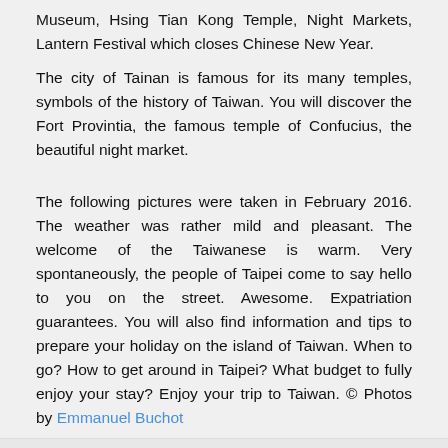Museum, Hsing Tian Kong Temple, Night Markets, Lantern Festival which closes Chinese New Year.
The city of Tainan is famous for its many temples, symbols of the history of Taiwan. You will discover the Fort Provintia, the famous temple of Confucius, the beautiful night market.
The following pictures were taken in February 2016. The weather was rather mild and pleasant. The welcome of the Taiwanese is warm. Very spontaneously, the people of Taipei come to say hello to you on the street. Awesome. Expatriation guarantees. You will also find information and tips to prepare your holiday on the island of Taiwan. When to go? How to get around in Taipei? What budget to fully enjoy your stay? Enjoy your trip to Taiwan. © Photos by Emmanuel Buchot
Galery photos of Taipei